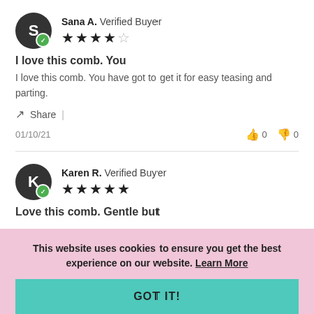Sana A. Verified Buyer ★★★★☆
I love this comb. You
I love this comb. You have got to get it for easy teasing and parting.
Share | 01/10/21 👍 0 👎 0
Karen R. Verified Buyer ★★★★★
Love this comb. Gentle but
This website uses cookies to ensure you get the best experience on our website. Learn More
GOT IT!